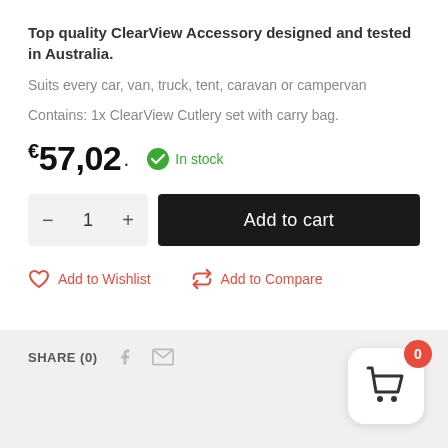Top quality ClearView Accessory designed and tested in Australia.
Suits every car, van, truck, tent, caravan or campervan
Contains: 1x ClearView Cutlery set with carry bag.
€57,02 .  In stock
- 1 +  Add to cart
Add to Wishlist   Add to Compare
SHARE (0)
[Figure (other): Shopping cart floating action button with red badge showing 0]